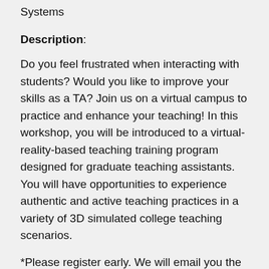Department of Educational Psychology and Learning Systems
Description:
Do you feel frustrated when interacting with students? Would you like to improve your skills as a TA? Join us on a virtual campus to practice and enhance your teaching! In this workshop, you will be introduced to a virtual-reality-based teaching training program designed for graduate teaching assistants. You will have opportunities to experience authentic and active teaching practices in a variety of 3D simulated college teaching scenarios.
*Please register early. We will email you the preparation instructions a few days before the workshop.